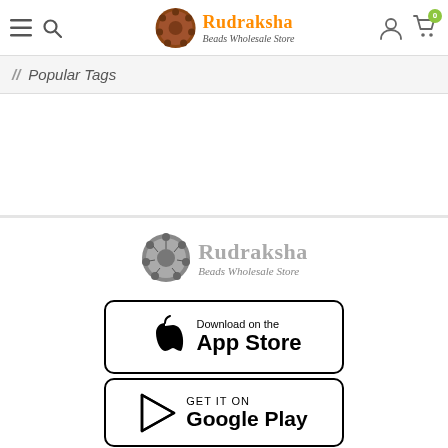Rudraksha Beads Wholesale Store
Popular Tags
[Figure (logo): Rudraksha Beads Wholesale Store footer logo in grayscale]
[Figure (screenshot): Download on the App Store button]
[Figure (screenshot): Get it on Google Play button]